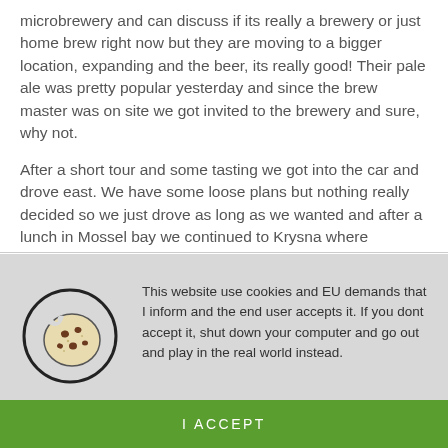microbrewery and can discuss if its really a brewery or just home brew right now but they are moving to a bigger location, expanding and the beer, its really good! Their pale ale was pretty popular yesterday and since the brew master was on site we got invited to the brewery and sure, why not.
After a short tour and some tasting we got into the car and drove east. We have some loose plans but nothing really decided so we just drove as long as we wanted and after a lunch in Mossel bay we continued to Krysna where
[Figure (illustration): Cookie icon inside a circle — a cartoon cookie with chocolate chips, drawn in black outline on gray background]
This website use cookies and EU demands that I inform and the end user accepts it. If you dont accept it, shut down your computer and go out and play in the real world instead.
I ACCEPT